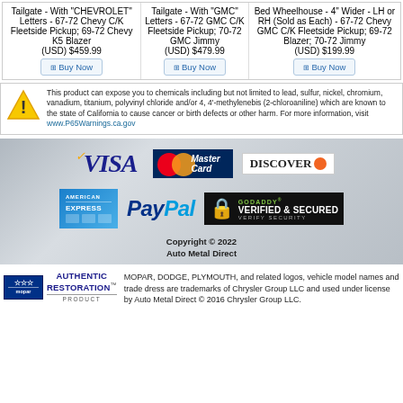Tailgate - With "CHEVROLET" Letters - 67-72 Chevy C/K Fleetside Pickup; 69-72 Chevy K5 Blazer (USD) $459.99
Tailgate - With "GMC" Letters - 67-72 GMC C/K Fleetside Pickup; 70-72 GMC Jimmy (USD) $479.99
Bed Wheelhouse - 4" Wider - LH or RH (Sold as Each) - 67-72 Chevy GMC C/K Fleetside Pickup; 69-72 Blazer; 70-72 Jimmy (USD) $199.99
This product can expose you to chemicals including but not limited to lead, sulfur, nickel, chromium, vanadium, titanium, polyvinyl chloride and/or 4, 4'-methylenebis (2-chloroaniline) which are known to the state of California to cause cancer or birth defects or other harm. For more information, visit www.P65Warnings.ca.gov
[Figure (logo): Payment methods banner: VISA, MasterCard, Discover, American Express, PayPal, GoDaddy Verified & Secured on brushed metal background]
Copyright © 2022 Auto Metal Direct
[Figure (logo): Mopar Authentic Restoration Product logo]
MOPAR, DODGE, PLYMOUTH, and related logos, vehicle model names and trade dress are trademarks of Chrysler Group LLC and used under license by Auto Metal Direct © 2016 Chrysler Group LLC.